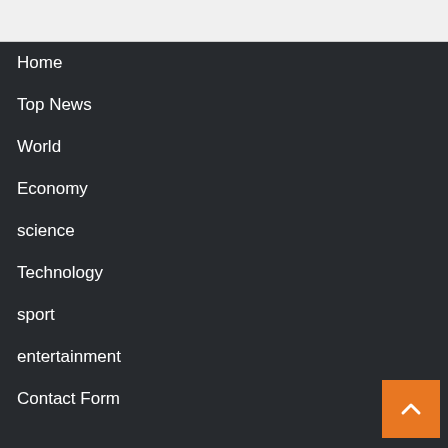Home
Top News
World
Economy
science
Technology
sport
entertainment
Contact Form